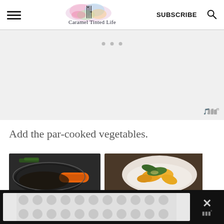Caramel Tinted Life — SUBSCRIBE
[Figure (screenshot): Advertisement placeholder area with three small gray dots and watermark in lower right corner]
Add the par-cooked vegetables.
[Figure (photo): Two food photos side by side: left shows an orange-handled pan with dark contents, right shows a bowl of cooked carrots and vegetables]
[Figure (screenshot): Bottom dark banner with polka-dot advertisement on left and close X button with Mediavine watermark on right]